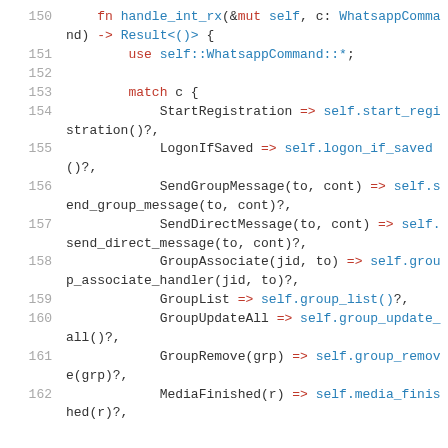[Figure (screenshot): Rust source code showing a function handle_int_rx with a match statement on WhatsappCommand variants, lines 150-162]